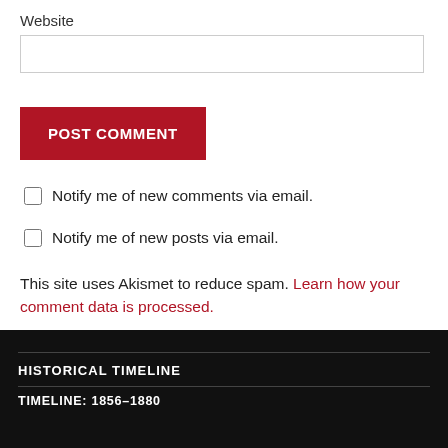Website
POST COMMENT
Notify me of new comments via email.
Notify me of new posts via email.
This site uses Akismet to reduce spam. Learn how your comment data is processed.
HISTORICAL TIMELINE
TIMELINE: 1856–1880